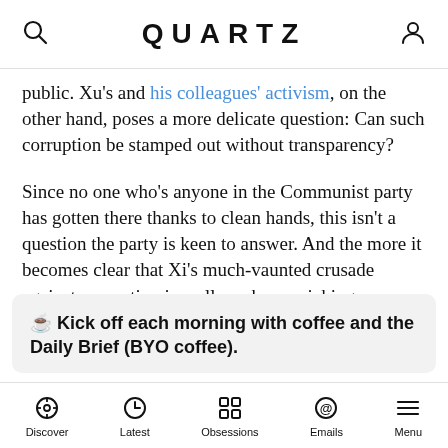QUARTZ
public. Xu's and his colleagues' activism, on the other hand, poses a more delicate question: Can such corruption be stamped out without transparency?
Since no one who's anyone in the Communist party has gotten there thanks to clean hands, this isn't a question the party is keen to answer. And the more it becomes clear that Xi's much-vaunted crusade against corruption is really a cherry-picking expedition, the more the public resents its lack of say in who gets to make those decisions.
☕ Kick off each morning with coffee and the Daily Brief (BYO coffee).
Discover | Latest | Obsessions | Emails | Menu